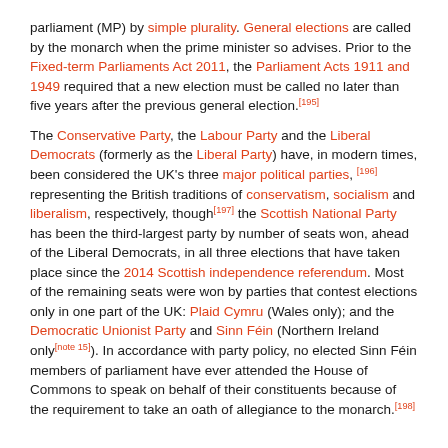parliament (MP) by simple plurality. General elections are called by the monarch when the prime minister so advises. Prior to the Fixed-term Parliaments Act 2011, the Parliament Acts 1911 and 1949 required that a new election must be called no later than five years after the previous general election.[195]
The Conservative Party, the Labour Party and the Liberal Democrats (formerly as the Liberal Party) have, in modern times, been considered the UK's three major political parties,[196] representing the British traditions of conservatism, socialism and liberalism, respectively, though[197] the Scottish National Party has been the third-largest party by number of seats won, ahead of the Liberal Democrats, in all three elections that have taken place since the 2014 Scottish independence referendum. Most of the remaining seats were won by parties that contest elections only in one part of the UK: Plaid Cymru (Wales only); and the Democratic Unionist Party and Sinn Féin (Northern Ireland only[note 15]). In accordance with party policy, no elected Sinn Féin members of parliament have ever attended the House of Commons to speak on behalf of their constituents because of the requirement to take an oath of allegiance to the monarch.[198]